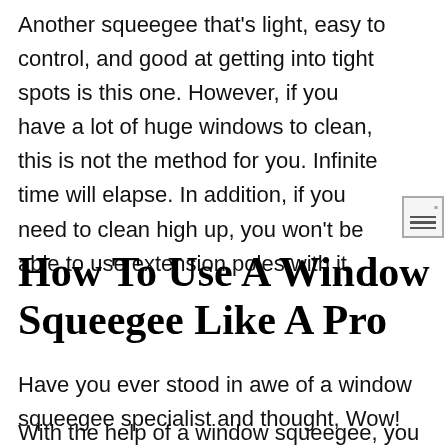Another squeegee that's light, easy to control, and good at getting into tight spots is this one. However, if you have a lot of huge windows to clean, this is not the method for you. Infinite time will elapse. In addition, if you need to clean high up, you won't be able to use extension poles with it
How To Use A Window Squeegee Like A Pro
Have you ever stood in awe of a window squeegee specialist and thought, Wow!
With the help of a window squeegee, you